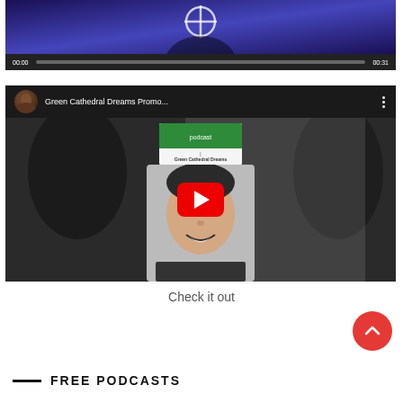[Figure (screenshot): Video player with dark background, purple/blue thumbnail showing a circular icon with crosshair, and a controls bar showing time 00:00 and 00:31 with a progress bar]
[Figure (screenshot): YouTube embedded video player showing 'Green Cathedral Dreams Promo...' with a thumbnail of a smiling man and an album card with green header, red YouTube play button in center]
Check it out
FREE PODCASTS